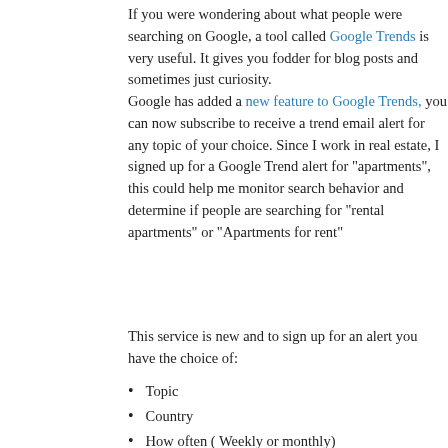If you were wondering about what people were searching on Google, a tool called Google Trends is very useful. It gives you fodder for blog posts and sometimes just curiosity.
Google has added a new feature to Google Trends, you can now subscribe to receive a trend email alert for any topic of your choice. Since I work in real estate, I signed up for a Google Trend alert for "apartments", this could help me monitor search behavior and determine if people are searching for "rental apartments" or "Apartments for rent"
This service is new and to sign up for an alert you have the choice of:
Topic
Country
How often ( Weekly or monthly)
You can also determine a timeline of the trend and which terms related to it are rising. A useful tool for sure. Of course, just like how Thomas Cla